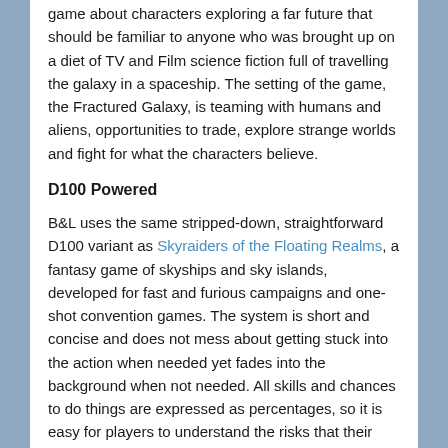game about characters exploring a far future that should be familiar to anyone who was brought up on a diet of TV and Film science fiction full of travelling the galaxy in a spaceship. The setting of the game, the Fractured Galaxy, is teaming with humans and aliens, opportunities to trade, explore strange worlds and fight for what the characters believe.
D100 Powered
B&L uses the same stripped-down, straightforward D100 variant as Skyraiders of the Floating Realms, a fantasy game of skyships and sky islands, developed for fast and furious campaigns and one-shot convention games. The system is short and concise and does not mess about getting stuck into the action when needed yet fades into the background when not needed. All skills and chances to do things are expressed as percentages, so it is easy for players to understand the risks that their characters are taking.
What this Zero Edition Contains